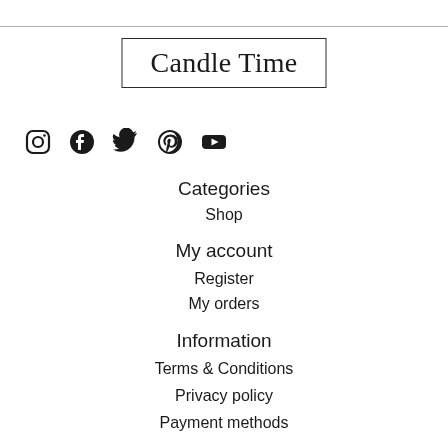[Figure (logo): Candle Time logo in a rectangular border]
[Figure (infographic): Social media icons row: Instagram, Facebook, Twitter, Pinterest, YouTube]
Categories
Shop
My account
Register
My orders
Information
Terms & Conditions
Privacy policy
Payment methods